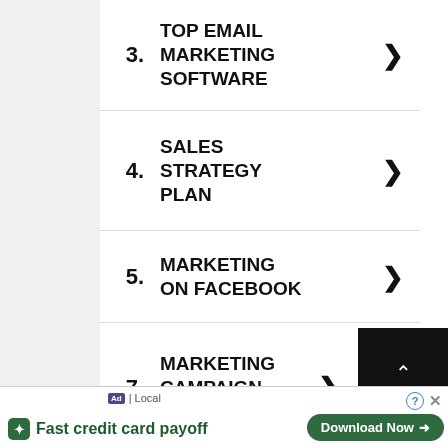3. TOP EMAIL MARKETING SOFTWARE
4. SALES STRATEGY PLAN
5. MARKETING ON FACEBOOK
6. TOP RATED EMAIL MARKETING
7. MARKETING CAMPAIGN PLAN
[Figure (screenshot): Top button overlay (black, with up arrow and 'Top' text)]
[Figure (screenshot): Close X button (grey)]
[Figure (screenshot): Ad bar at bottom: Tally logo, 'Fast credit card payoff', Download Now button, help/close icons, Ad | Local label]